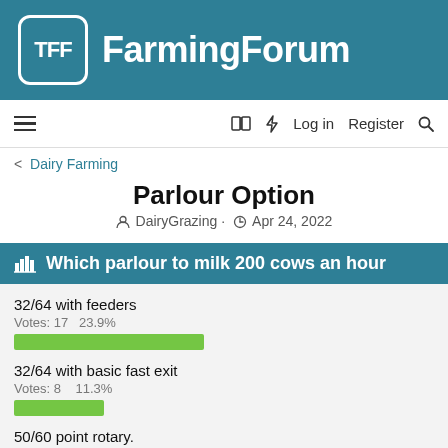TFF FarmingForum
≡  [book icon] [flash icon] Log in  Register [search icon]
< Dairy Farming
Parlour Option
DairyGrazing · Apr 24, 2022
Which parlour to milk 200 cows an hour
32/64 with feeders
Votes: 17   23.9%
32/64 with basic fast exit
Votes: 8   11.3%
50/60 point rotary.